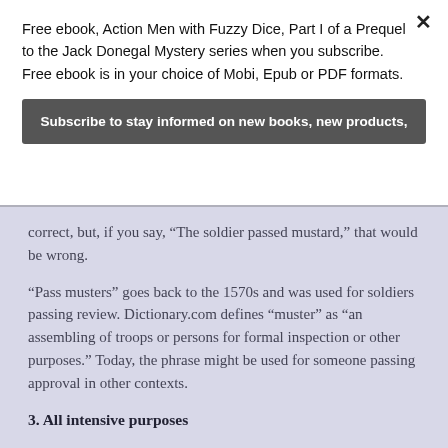Free ebook, Action Men with Fuzzy Dice, Part I of a Prequel to the Jack Donegal Mystery series when you subscribe. Free ebook is in your choice of Mobi, Epub or PDF formats.
Subscribe to stay informed on new books, new products,
correct, but, if you say, “The soldier passed mustard,” that would be wrong.
“Pass musters” goes back to the 1570s and was used for soldiers passing review. Dictionary.com defines “muster” as “an assembling of troops or persons for formal inspection or other purposes.” Today, the phrase might be used for someone passing approval in other contexts.
3. All intensive purposes